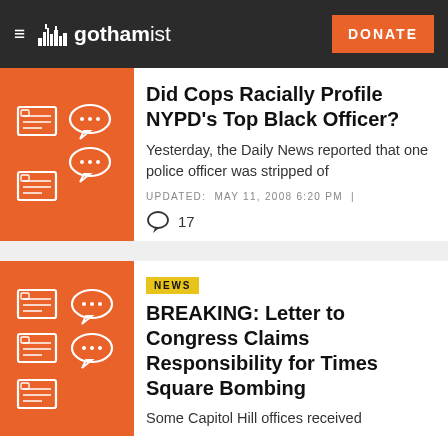gothamist — DONATE
Did Cops Racially Profile NYPD's Top Black Officer?
Yesterday, the Daily News reported that one police officer was stripped of
UPDATED: MAY 11, 2008 6:20 PM |
17
NEWS
BREAKING: Letter to Congress Claims Responsibility for Times Square Bombing
Some Capitol Hill offices received